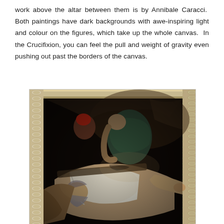work above the altar between them is by Annibale Caracci. Both paintings have dark backgrounds with awe-inspiring light and colour on the figures, which take up the whole canvas. In the Crucifixion, you can feel the pull and weight of gravity even pushing out past the borders of the canvas.
[Figure (photo): A photograph of a Caravaggio painting displayed in an ornate frame, showing the Crucifixion of Saint Peter. The painting features dark background with dramatically lit figures — a bearded man lying on his back with his arm extended, and several men working to raise a cross, rendered in Caravaggio's characteristic chiaroscuro style.]